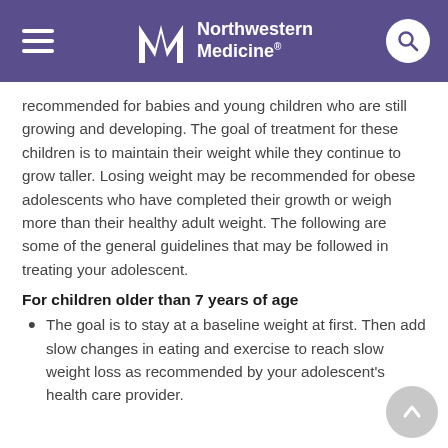Northwestern Medicine
recommended for babies and young children who are still growing and developing. The goal of treatment for these children is to maintain their weight while they continue to grow taller. Losing weight may be recommended for obese adolescents who have completed their growth or weigh more than their healthy adult weight. The following are some of the general guidelines that may be followed in treating your adolescent.
For children older than 7 years of age
The goal is to stay at a baseline weight at first. Then add slow changes in eating and exercise to reach slow weight loss as recommended by your adolescent's health care provider.